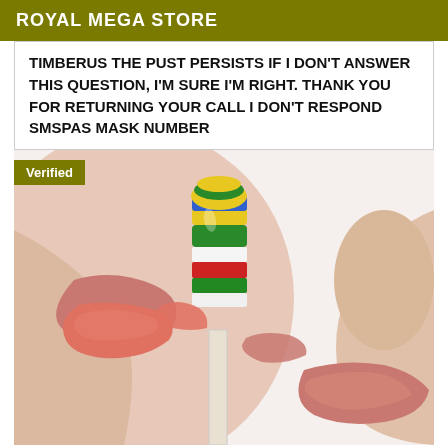ROYAL MEGA STORE
TIMBERUS THE PUST PERSISTS IF I DON'T ANSWER THIS QUESTION, I'M SURE I'M RIGHT. THANK YOU FOR RETURNING YOUR CALL I DON'T RESPOND SMSPAS MASK NUMBER
[Figure (photo): Close-up photo of two people licking a colorful striped lollipop/candy from both sides. A 'Verified' badge overlays the top-left corner of the image.]